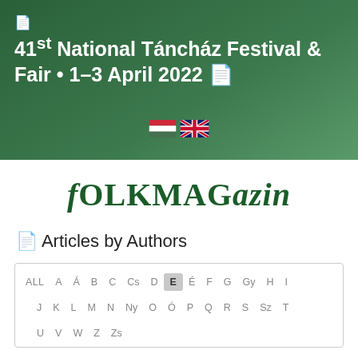41st National Táncház Festival & Fair • 1–3 April 2022
[Figure (illustration): Hungarian and UK flags side by side]
[Figure (logo): folkMAGazin logo in dark green serif font]
Articles by Authors
| ALL | A | Á | B | C | Cs | D | E | É | F | G | Gy | H | I | J | K | L | M | N | Ny | O | Ó | P | Q | R | S | Sz | T | U | V | W | Z | Zs |
| --- | --- | --- | --- | --- | --- | --- | --- | --- | --- | --- | --- | --- | --- | --- | --- | --- | --- | --- | --- | --- | --- | --- | --- | --- | --- | --- | --- | --- | --- | --- | --- | --- |